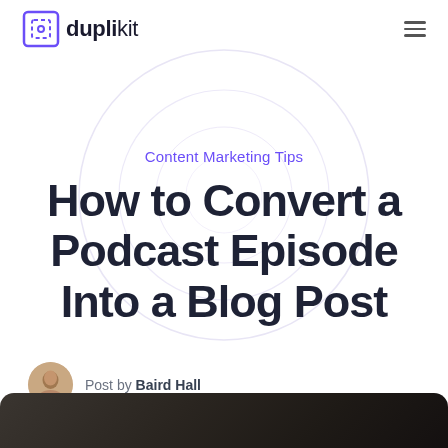duplikit
Content Marketing Tips
How to Convert a Podcast Episode Into a Blog Post
Post by Baird Hall
[Figure (photo): Bottom portion of a dark photograph showing a computer/laptop screen in low light]